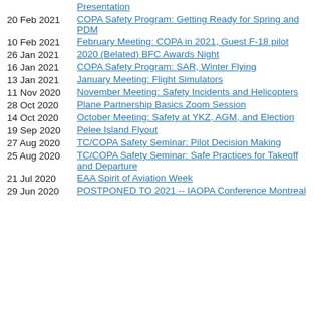20 Feb 2021 – COPA Safety Program: Getting Ready for Spring and PDM
10 Feb 2021 – February Meeting: COPA in 2021, Guest F-18 pilot
26 Jan 2021 – 2020 (Belated) BFC Awards Night
16 Jan 2021 – COPA Safety Program: SAR, Winter Flying
13 Jan 2021 – January Meeting: Flight Simulators
11 Nov 2020 – November Meeting: Safety Incidents and Helicopters
28 Oct 2020 – Plane Partnership Basics Zoom Session
14 Oct 2020 – October Meeting: Safety at YKZ, AGM, and Election
19 Sep 2020 – Pelee Island Flyout
27 Aug 2020 – TC/COPA Safety Seminar: Pilot Decision Making
25 Aug 2020 – TC/COPA Safety Seminar: Safe Practices for Takeoff and Departure
21 Jul 2020 – EAA Spirit of Aviation Week
29 Jun 2020 – POSTPONED TO 2021 -- IAOPA Conference Montreal